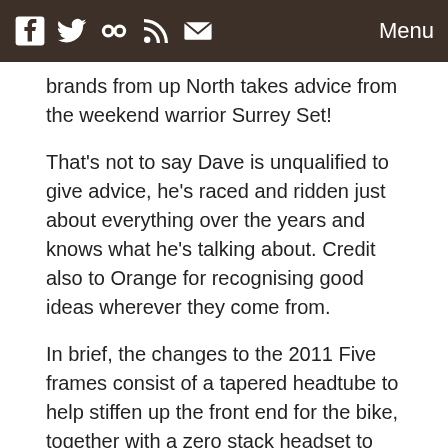Menu
brands from up North takes advice from the weekend warrior Surrey Set!
That's not to say Dave is unqualified to give advice, he's raced and ridden just about everything over the years and knows what he's talking about. Credit also to Orange for recognising good ideas wherever they come from.
In brief, the changes to the 2011 Five frames consist of a tapered headtube to help stiffen up the front end for the bike, together with a zero stack headset to keep the front low and wieldy. There's a larger seat tube to allow fitting of seat-dropper seatposts that are now very popular, as well as cable guides to keep things tidy. And finally, the frame comes with ISCG